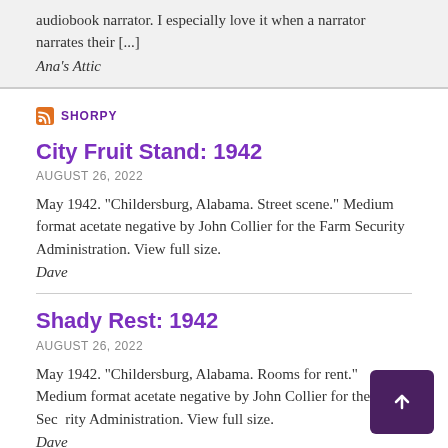audiobook narrator. I especially love it when a narrator narrates their [...]
Ana's Attic
SHORPY
City Fruit Stand: 1942
AUGUST 26, 2022
May 1942. "Childersburg, Alabama. Street scene." Medium format acetate negative by John Collier for the Farm Security Administration. View full size.
Dave
Shady Rest: 1942
AUGUST 26, 2022
May 1942. "Childersburg, Alabama. Rooms for rent." Medium format acetate negative by John Collier for the Farm Security Administration. View full size.
Dave